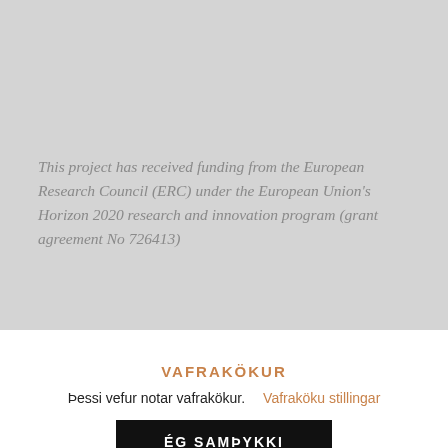This project has received funding from the European Research Council (ERC) under the European Union's Horizon 2020 research and innovation program (grant agreement No 726413)
VAFRAKÖKUR
Þessi vefur notar vafrakökur.   Vafraköku stillingar
ÉG SAMÞYKKI